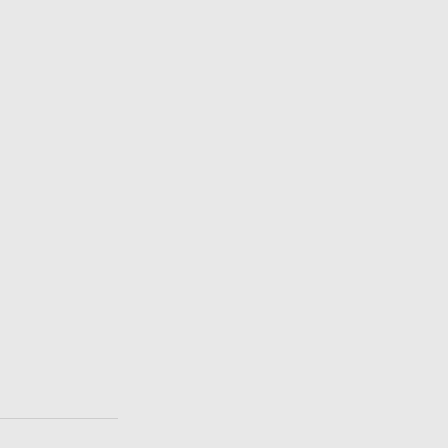[Figure (illustration): Default avatar/user icon - grey silhouette of a person on grey background, first comment]
19 January 2...
[url=http://... romance d... Prescription... mod=view... prescription... [url=http://... Buying Go...
Reply
Murray
19 January 2...
[Figure (illustration): Default avatar/user icon - grey silhouette of a person on grey background, Murray comment]
<a href=ht...
Reply
mawelopu...
19 January 2...
[Figure (illustration): Default avatar/user icon - grey silhouette of a person on grey background, mawelopu comment]
[url=http://... doctor con... [url=http://... topic=4185... Sale Xalat...
Reply